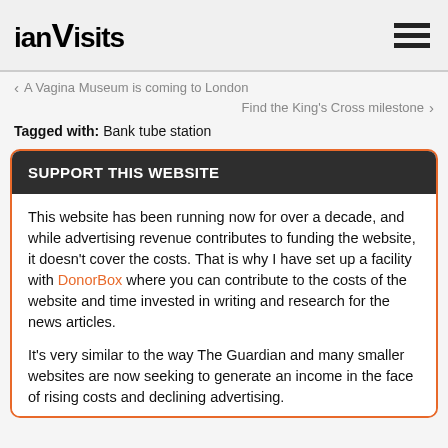ianVisits
‹  A Vagina Museum is coming to London
Find the King's Cross milestone  ›
Tagged with: Bank tube station
SUPPORT THIS WEBSITE
This website has been running now for over a decade, and while advertising revenue contributes to funding the website, it doesn't cover the costs. That is why I have set up a facility with DonorBox where you can contribute to the costs of the website and time invested in writing and research for the news articles.
It's very similar to the way The Guardian and many smaller websites are now seeking to generate an income in the face of rising costs and declining advertising.